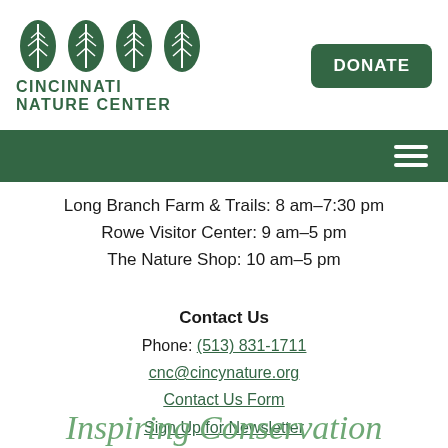[Figure (logo): Cincinnati Nature Center logo with four green leaf icons above the text CINCINNATI NATURE CENTER]
DONATE
[Figure (other): Dark green navigation bar with hamburger menu icon (three white horizontal lines) on the right]
Long Branch Farm & Trails: 8 am–7:30 pm
Rowe Visitor Center: 9 am–5 pm
The Nature Shop: 10 am–5 pm
Contact Us
Phone: (513) 831-1711
cnc@cincynature.org
Contact Us Form
Sign Up for Newsletter
Inspiring Conservation